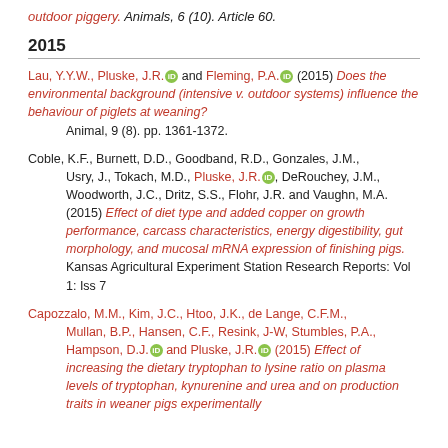outdoor piggery. Animals, 6 (10). Article 60.
2015
Lau, Y.Y.W., Pluske, J.R. and Fleming, P.A. (2015) Does the environmental background (intensive v. outdoor systems) influence the behaviour of piglets at weaning? Animal, 9 (8). pp. 1361-1372.
Coble, K.F., Burnett, D.D., Goodband, R.D., Gonzales, J.M., Usry, J., Tokach, M.D., Pluske, J.R., DeRouchey, J.M., Woodworth, J.C., Dritz, S.S., Flohr, J.R. and Vaughn, M.A. (2015) Effect of diet type and added copper on growth performance, carcass characteristics, energy digestibility, gut morphology, and mucosal mRNA expression of finishing pigs. Kansas Agricultural Experiment Station Research Reports: Vol 1: Iss 7
Capozzalo, M.M., Kim, J.C., Htoo, J.K., de Lange, C.F.M., Mullan, B.P., Hansen, C.F., Resink, J-W, Stumbles, P.A., Hampson, D.J. and Pluske, J.R. (2015) Effect of increasing the dietary tryptophan to lysine ratio on plasma levels of tryptophan, kynurenine and urea and on production traits in weaner pigs experimentally